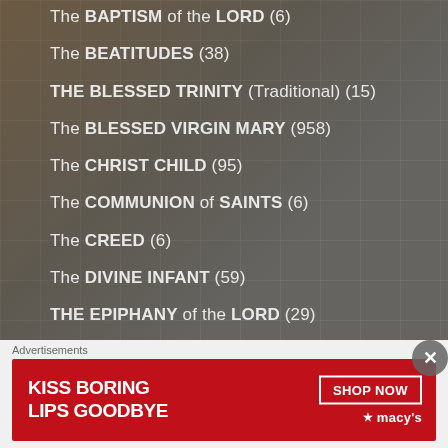The BAPTISM of the LORD (6)
The BEATITUDES (38)
THE BLESSED TRINITY (Traditional) (15)
The BLESSED VIRGIN MARY (958)
The CHRIST CHILD (95)
The COMMUNION of SAINTS (6)
The CREED (6)
The DIVINE INFANT (59)
THE EPIPHANY of the LORD (29)
The FAITHFUL on PILGRIMAGE (117)
The FIVE FIRST Saturdays (2)
Advertisements
[Figure (infographic): Macy's advertisement banner: KISS BORING LIPS GOODBYE with SHOP NOW button and Macy's logo on red background]